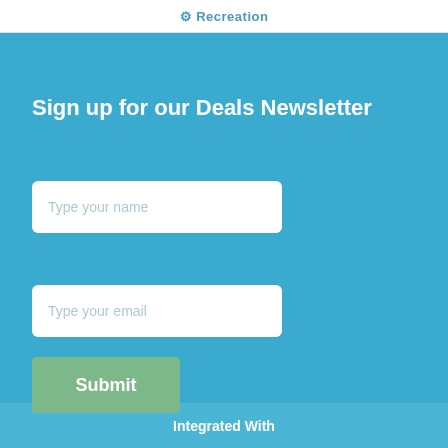Recreation
Sign up for our Deals Newsletter
Type your name
Type your email
Submit
Integrated With